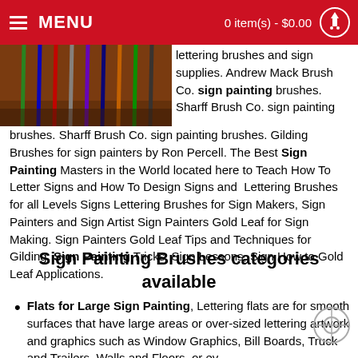MENU  |  0 item(s) - $0.00
[Figure (photo): Photo of colored sign painting brushes on a wooden surface, top-left of page]
lettering brushes and sign supplies. Andrew Mack Brush Co. sign painting brushes. Sharff Brush Co. sign painting brushes. Gilding Brushes for sign painters by Ron Percell. The Best Sign Painting Masters in the World located here to Teach How To Letter Signs and How To Design Signs and Lettering Brushes for all Levels Signs Lettering Brushes for Sign Makers, Sign Painters and Sign Artist Sign Painters Gold Leaf for Sign Making. Sign Painters Gold Leaf Tips and Techniques for Gilding, Sign Painting Tricks, Sign Lessons, Sign How to Gold Leaf Applications.
Sign Painting Brushes categories available
Flats for Large Sign Painting, Lettering flats are for smooth surfaces that have large areas or over-sized lettering artwork and graphics such as Window Graphics, Bill Boards, Truck and Trailers, Walls and Floors, or even some small signs to coat out your small signs backgrounds.